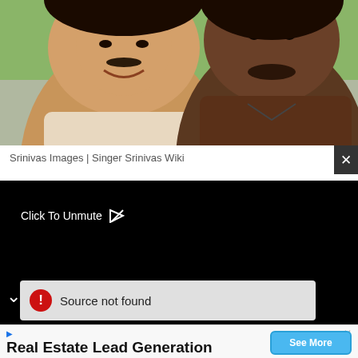[Figure (photo): Two men posing together for a photo. The man on the left is smiling broadly, wearing a light-colored jacket, with a mustache. The man on the right is taller and wearing a dark brown shirt. Green background visible behind them.]
Srinivas Images | Singer Srinivas Wiki
[Figure (screenshot): Black video player with 'Click To Unmute' text and cursor icon, and a 'Source not found' error bar with red exclamation icon at the bottom of the player.]
Real Estate Lead Generation
Search and Compare Top Real Estate Lead Management Systems Yahoo Search